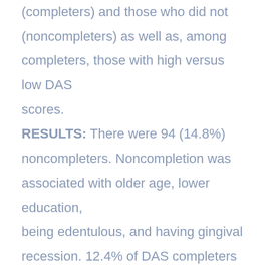(completers) and those who did not (noncompleters) as well as, among completers, those with high versus low DAS scores. RESULTS: There were 94 (14.8%) noncompleters. Noncompletion was associated with older age, lower education, being edentulous, and having gingival recession. 12.4% of DAS completers had high DAS scores, which was more common among those aged 60-70 years, women, and those with oral pain and sore or bleeding gums. In